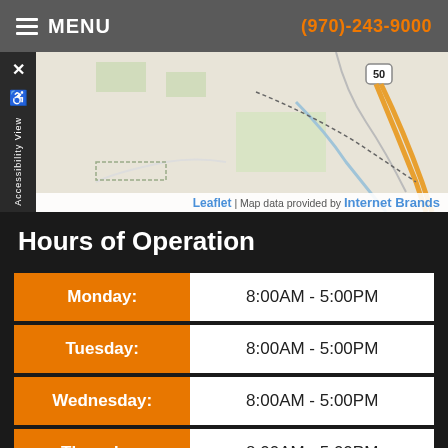MENU  (970)-243-9000
[Figure (map): Street map showing area near highway 50 with road network and terrain. Leaflet | Map data provided by Internet Brands]
Hours of Operation
| Day | Hours |
| --- | --- |
| Monday: | 8:00AM - 5:00PM |
| Tuesday: | 8:00AM - 5:00PM |
| Wednesday: | 8:00AM - 5:00PM |
| Thursday: | 8:00AM - 5:00PM |